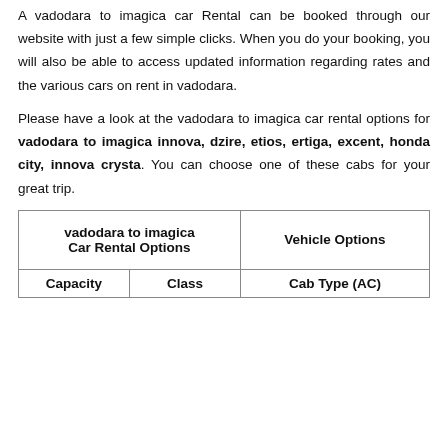A vadodara to imagica car Rental can be booked through our website with just a few simple clicks. When you do your booking, you will also be able to access updated information regarding rates and the various cars on rent in vadodara.
Please have a look at the vadodara to imagica car rental options for vadodara to imagica innova, dzire, etios, ertiga, excent, honda city, innova crysta. You can choose one of these cabs for your great trip.
| vadodara to imagica Car Rental Options |  | Vehicle Options |
| --- | --- | --- |
| Capacity | Class | Cab Type (AC) |